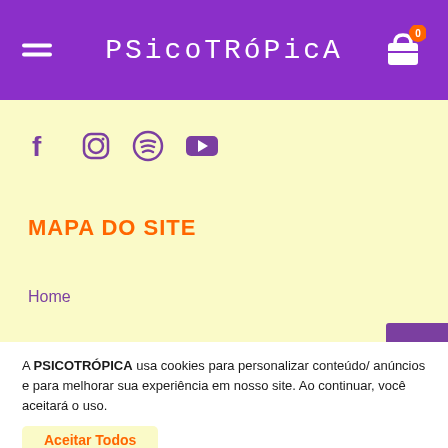PSICOTRÓPICA
[Figure (infographic): Social media icons row: Facebook, Instagram, Spotify, YouTube — all in purple on light yellow background]
MAPA DO SITE
Home
A PSICOTRÓPICA usa cookies para personalizar conteúdo/ anúncios e para melhorar sua experiência em nosso site. Ao continuar, você aceitará o uso.
Aceitar Todos